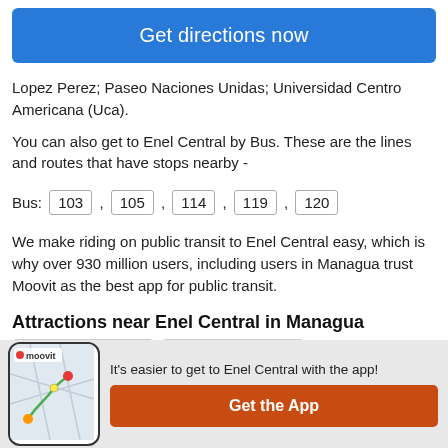Get directions now
Lopez Perez; Paseo Naciones Unidas; Universidad Centro Americana (Uca).
You can also get to Enel Central by Bus. These are the lines and routes that have stops nearby -
Bus: 103 , 105 , 114 , 119 , 120
We make riding on public transit to Enel Central easy, which is why over 930 million users, including users in Managua trust Moovit as the best app for public transit.
Attractions near Enel Central in Managua
It's easier to get to Enel Central with the app!
Get the App